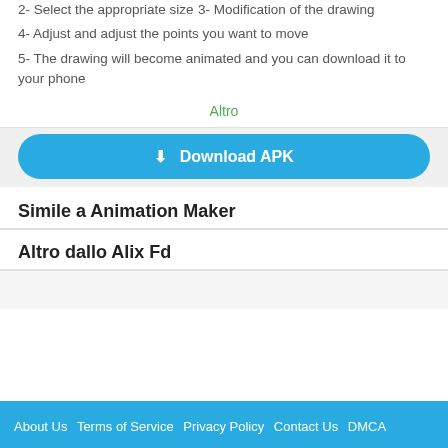2- Select the appropriate size
3- Modification of the drawing
4- Adjust and adjust the points you want to move
5- The drawing will become animated and you can download it to your phone
Altro
[Figure (other): Download APK button - a large rounded blue button with download icon and text 'Download APK']
Simile a Animation Maker
Altro dallo Alix Fd
About Us  Terms of Service  Privacy Policy  Contact Us  DMCA